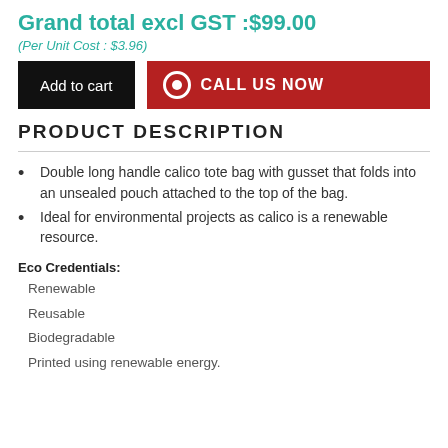Grand total excl GST :$99.00
(Per Unit Cost : $3.96)
Add to cart | CALL US NOW
PRODUCT DESCRIPTION
Double long handle calico tote bag with gusset that folds into an unsealed pouch attached to the top of the bag.
Ideal for environmental projects as calico is a renewable resource.
Eco Credentials:
Renewable
Reusable
Biodegradable
Printed using renewable energy.